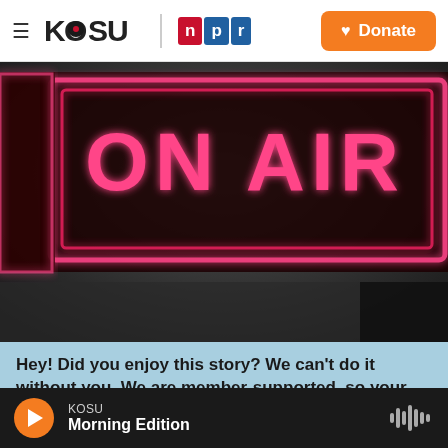KOSU | npr  Donate
[Figure (photo): Close-up photo of a glowing pink/red neon 'ON AIR' sign against a dark background]
Hey! Did you enjoy this story? We can't do it without you. We are member-supported, so your donation is critical to KOSU's news reporting and music programming. Help support the reporters
KOSU  Morning Edition